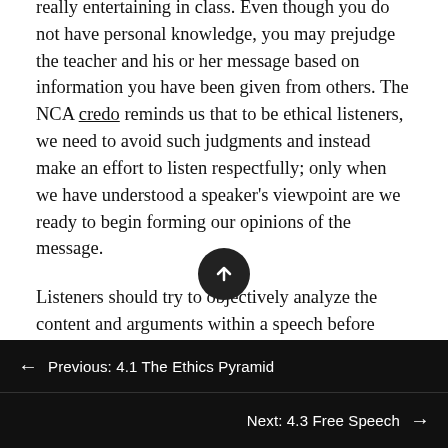really entertaining in class. Even though you do not have personal knowledge, you may prejudge the teacher and his or her message based on information you have been given from others. The NCA credo reminds us that to be ethical listeners, we need to avoid such judgments and instead make an effort to listen respectfully; only when we have understood a speaker's viewpoint are we ready to begin forming our opinions of the message.
Listeners should try to objectively analyze the content and arguments within a speech before deciding how to respond. Especially when we disagree with a speaker, we might find it difficult to listen to the content of the speech and, instead, work on creating a rebuttal the
← Previous: 4.1 The Ethics Pyramid
Next: 4.3 Free Speech →